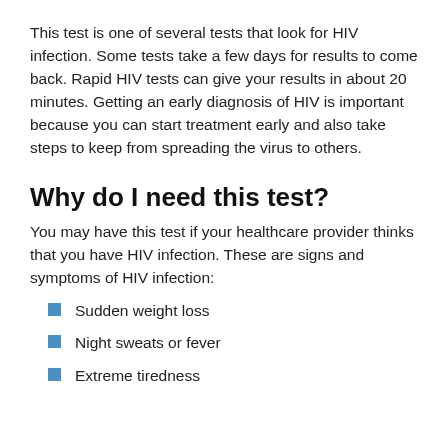This test is one of several tests that look for HIV infection. Some tests take a few days for results to come back. Rapid HIV tests can give your results in about 20 minutes. Getting an early diagnosis of HIV is important because you can start treatment early and also take steps to keep from spreading the virus to others.
Why do I need this test?
You may have this test if your healthcare provider thinks that you have HIV infection. These are signs and symptoms of HIV infection:
Sudden weight loss
Night sweats or fever
Extreme tiredness